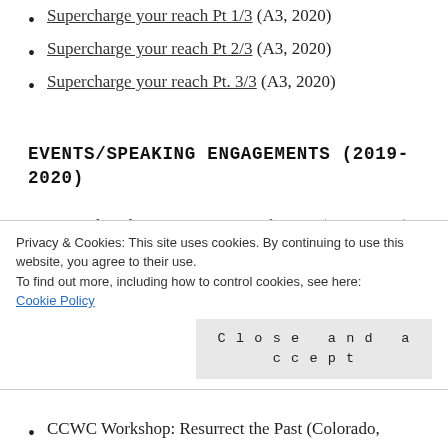Supercharge your reach Pt 1/3 (A3, 2020)
Supercharge your reach Pt 2/3 (A3, 2020)
Supercharge your reach Pt. 3/3 (A3, 2020)
EVENTS/SPEAKING ENGAGEMENTS (2019-2020)
Kentucky Christian Writers Conference (2020, 2021)
LancoExpo multi-author Event (2019)
Privacy & Cookies: This site uses cookies. By continuing to use this website, you agree to their use.
To find out more, including how to control cookies, see here:
Cookie Policy
CCWC Workshop: Resurrect the Past (Colorado,